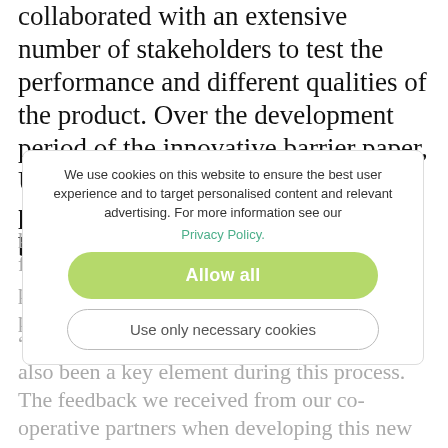collaborated with an extensive number of stakeholders to test the performance and different qualities of the product. Over the development period of the innovative barrier paper, UPM worked closelywith converters, packaging line manufacturers and brand owners to test the
product's features and to receive input and feedback. The collaborative development process also informed the optimization of the product's appealing print performance.
We use cookies on this website to ensure the best user experience and to target personalised content and relevant advertising. For more information see our Privacy Policy.
Allow all
Use only necessary cookies
“Collaboration is at the heart of UPM and has also been a key element during this process. The feedback we received from our co-operative partners when developing this new barrier paper was extremely valuable. UPM Asendo Pro is specifically created together with our partners and customers. By listening closely to their wishes